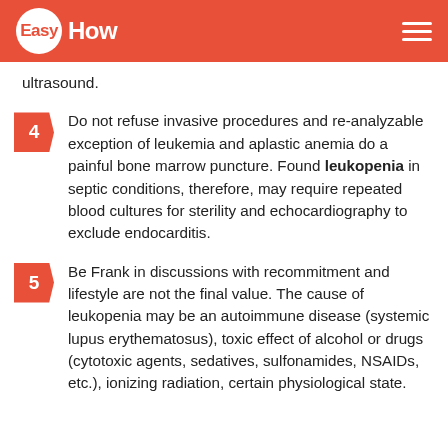EasyHow
ultrasound.
4 Do not refuse invasive procedures and re-analyzable exception of leukemia and aplastic anemia do a painful bone marrow puncture. Found leukopenia in septic conditions, therefore, may require repeated blood cultures for sterility and echocardiography to exclude endocarditis.
5 Be Frank in discussions with recommitment and lifestyle are not the final value. The cause of leukopenia may be an autoimmune disease (systemic lupus erythematosus), toxic effect of alcohol or drugs (cytotoxic agents, sedatives, sulfonamides, NSAIDs, etc.), ionizing radiation, certain physiological state.